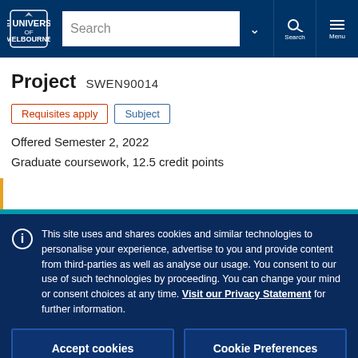[Figure (screenshot): University of Melbourne navigation bar with logo, search box, search icon and menu icon]
Project  SWEN90014
Requisites apply  Subject
Offered Semester 2, 2022
Graduate coursework, 12.5 credit points
This site uses and shares cookies and similar technologies to personalise your experience, advertise to you and provide content from third-parties as well as analyse our usage. You consent to our use of such technologies by proceeding. You can change your mind or consent choices at any time. Visit our Privacy Statement for further information.
Accept cookies    Cookie Preferences